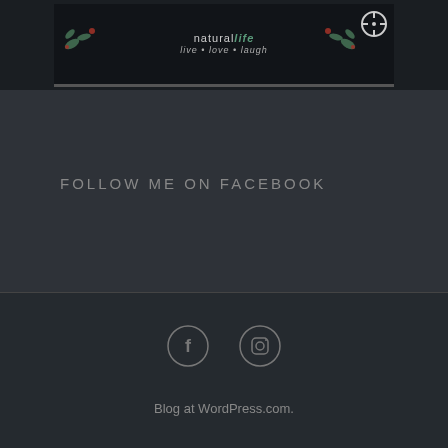[Figure (screenshot): Natural Life brand image with decorative leaf border and crosshair icon in top right corner]
FOLLOW ME ON FACEBOOK
[Figure (other): Facebook icon circle]
[Figure (other): Instagram icon circle]
Blog at WordPress.com.